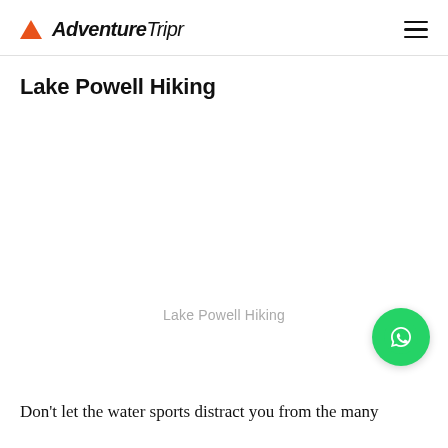Adventure Tripr
Lake Powell Hiking
Lake Powell Hiking
Don't let the water sports distract you from the many